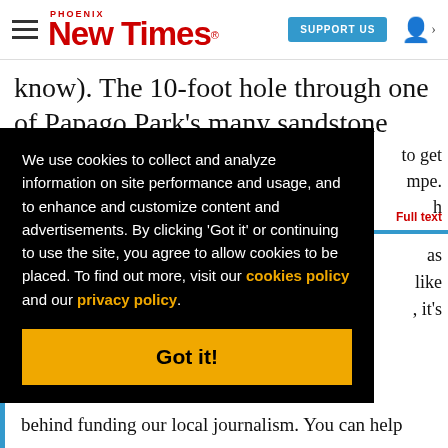Phoenix New Times — SUPPORT US
know). The 10-foot hole through one of Papago Park's many sandstone mountains, however,
We use cookies to collect and analyze information on site performance and usage, and to enhance and customize content and advertisements. By clicking 'Got it' or continuing to use the site, you agree to allow cookies to be placed. To find out more, visit our cookies policy and our privacy policy.
Got it!
behind funding our local journalism. You can help